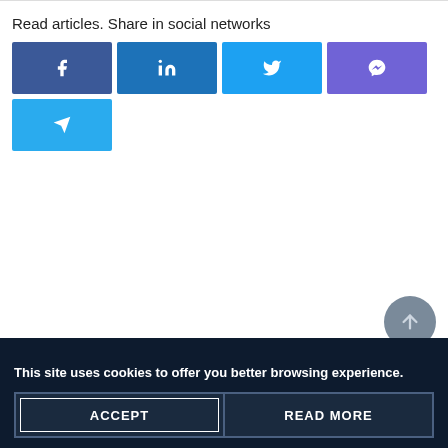Read articles. Share in social networks
[Figure (infographic): Social media share buttons: Facebook, LinkedIn, Twitter, Messenger, Telegram]
This site uses cookies to offer you better browsing experience.
ACCEPT    READ MORE